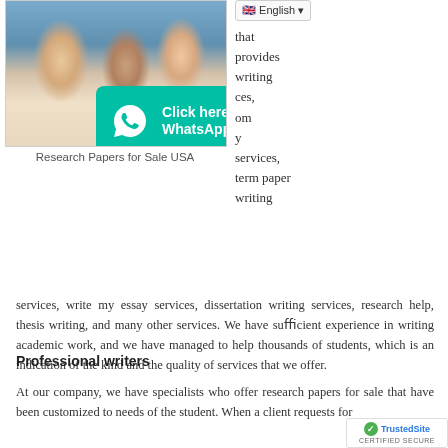[Figure (photo): Group of students looking at a laptop computer, smiling]
[Figure (other): WhatsApp click-to-chat button overlay on the photo]
Research Papers for Sale USA
that provides writing services, from y services, term paper writing
services, write my essay services, dissertation writing services, research help, thesis writing, and many other services. We have sufficient experience in writing academic work, and we have managed to help thousands of students, which is an indication of the kind and the quality of services that we offer.
Professional writers
At our company, we have specialists who offer research papers for sale that have been customized to needs of the student. When a client requests for